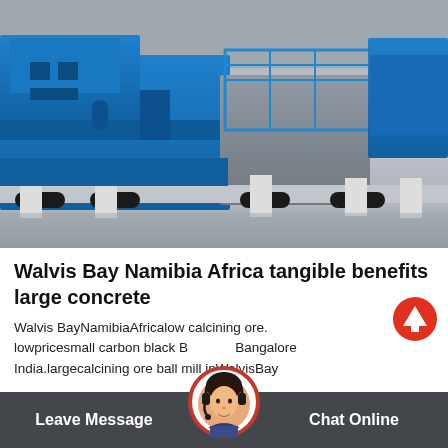[Figure (photo): Industrial blue heavy machinery (likely a crusher or milling machine) on a concrete floor inside a large warehouse/industrial hall]
Walvis Bay Namibia Africa tangible benefits large concrete
Walvis BayNamibiaAfricalow calcining ore. lowpricesmall carbon black Bangalore India.largecalcining ore ball mill inWalvisBay
[Figure (other): Red circle up-arrow scroll button]
[Figure (other): Customer service avatar with headset in circular frame with red border]
Leave Message   Chat Online